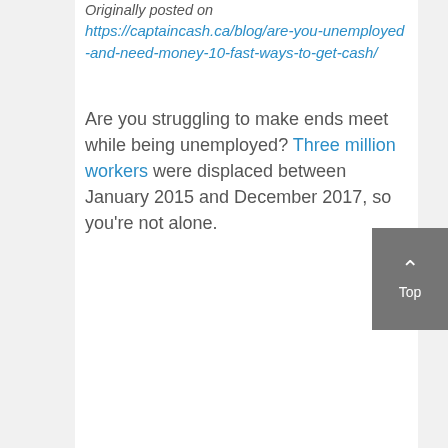Originally posted on
https://captaincash.ca/blog/are-you-unemployed-and-need-money-10-fast-ways-to-get-cash/
Are you struggling to make ends meet while being unemployed? Three million workers were displaced between January 2015 and December 2017, so you’re not alone.